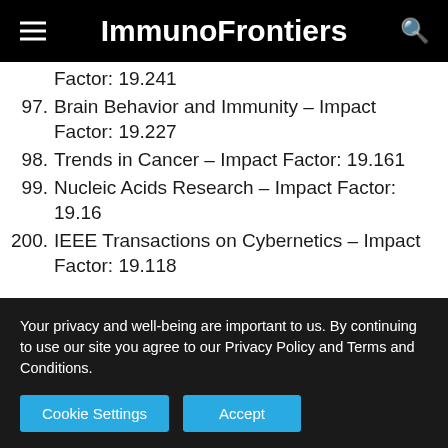ImmunoFrontiers
Factor: 19.241
97. Brain Behavior and Immunity – Impact Factor: 19.227
98. Trends in Cancer – Impact Factor: 19.161
99. Nucleic Acids Research – Impact Factor: 19.16
200. IEEE Transactions on Cybernetics – Impact Factor: 19.118
Your privacy and well-being are important to us. By continuing to use our site you agree to our Privacy Policy and Terms and Conditions.